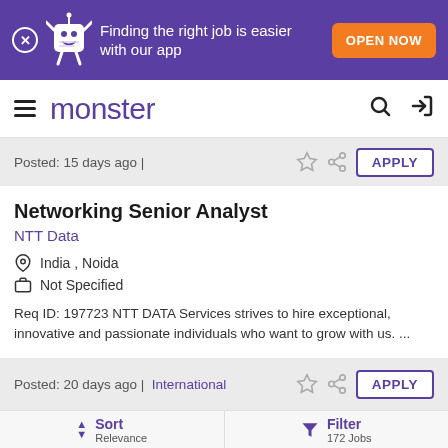[Figure (screenshot): Purple banner with Monster app mascot, text 'Finding the right job is easier with our app' and orange 'OPEN NOW' button]
monster
Posted: 15 days ago |
Networking Senior Analyst
NTT Data
India , Noida
Not Specified
Req ID: 197723 NTT DATA Services strives to hire exceptional, innovative and passionate individuals who want to grow with us.  ...
Posted: 20 days ago |  International
Sort
Relevance
Filter
172 Jobs